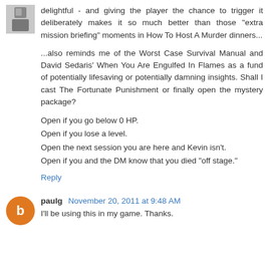delightful - and giving the player the chance to trigger it deliberately makes it so much better than those "extra mission briefing" moments in How To Host A Murder dinners...

...also reminds me of the Worst Case Survival Manual and David Sedaris' When You Are Engulfed In Flames as a fund of potentially lifesaving or potentially damning insights. Shall I cast The Fortunate Punishment or finally open the mystery package?

Open if you go below 0 HP.
Open if you lose a level.
Open the next session you are here and Kevin isn't.
Open if you and the DM know that you died "off stage."
Reply
paulg November 20, 2011 at 9:48 AM
I'll be using this in my game. Thanks.